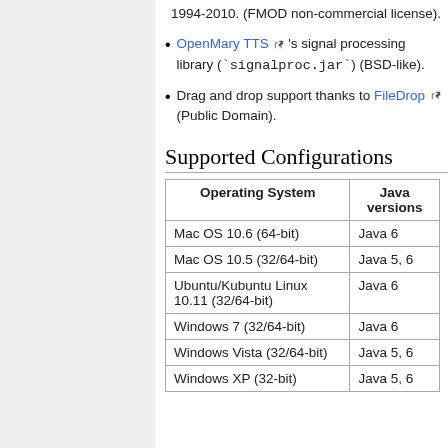1994-2010. (FMOD non-commercial license).
OpenMary TTS's signal processing library (`signalproc.jar`) (BSD-like).
Drag and drop support thanks to FileDrop (Public Domain).
Supported Configurations
| Operating System | Java versions |
| --- | --- |
| Mac OS 10.6 (64-bit) | Java 6 |
| Mac OS 10.5 (32/64-bit) | Java 5, 6 |
| Ubuntu/Kubuntu Linux 10.11 (32/64-bit) | Java 6 |
| Windows 7 (32/64-bit) | Java 6 |
| Windows Vista (32/64-bit) | Java 5, 6 |
| Windows XP (32-bit) | Java 5, 6 |